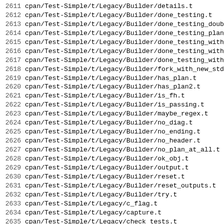2611 cpan/Test-Simple/t/Legacy/Builder/details.t
2612 cpan/Test-Simple/t/Legacy/Builder/done_testing.t
2613 cpan/Test-Simple/t/Legacy/Builder/done_testing_double.t
2614 cpan/Test-Simple/t/Legacy/Builder/done_testing_plan_mis
2615 cpan/Test-Simple/t/Legacy/Builder/done_testing_with_no_
2616 cpan/Test-Simple/t/Legacy/Builder/done_testing_with_num
2617 cpan/Test-Simple/t/Legacy/Builder/done_testing_with_pla
2618 cpan/Test-Simple/t/Legacy/Builder/fork_with_new_stdout.
2619 cpan/Test-Simple/t/Legacy/Builder/has_plan.t
2620 cpan/Test-Simple/t/Legacy/Builder/has_plan2.t
2621 cpan/Test-Simple/t/Legacy/Builder/is_fh.t
2622 cpan/Test-Simple/t/Legacy/Builder/is_passing.t
2623 cpan/Test-Simple/t/Legacy/Builder/maybe_regex.t
2624 cpan/Test-Simple/t/Legacy/Builder/no_diag.t
2625 cpan/Test-Simple/t/Legacy/Builder/no_ending.t
2626 cpan/Test-Simple/t/Legacy/Builder/no_header.t
2627 cpan/Test-Simple/t/Legacy/Builder/no_plan_at_all.t
2628 cpan/Test-Simple/t/Legacy/Builder/ok_obj.t
2629 cpan/Test-Simple/t/Legacy/Builder/output.t
2630 cpan/Test-Simple/t/Legacy/Builder/reset.t
2631 cpan/Test-Simple/t/Legacy/Builder/reset_outputs.t
2632 cpan/Test-Simple/t/Legacy/Builder/try.t
2633 cpan/Test-Simple/t/Legacy/c_flag.t
2634 cpan/Test-Simple/t/Legacy/capture.t
2635 cpan/Test-Simple/t/Legacy/check_tests.t
2636 cpan/Test-Simple/t/Legacy/circular_data.t
2637 cpan/Test-Simple/t/Legacy/cmp_ok.t
2638 cpan/Test-Simple/t/Legacy/depth.t
2639 cpan/Test-Simple/t/Legacy/diag.t
2640 cpan/Test-Simple/t/Legacy/died.t
2641 cpan/Test-Simple/t/Legacy/dont_overwrite_die_handler.t
2642 cpan/Test-Simple/t/Legacy/eq_set.t